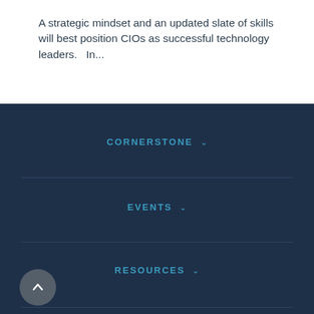A strategic mindset and an updated slate of skills will best position CIOs as successful technology leaders.   In...
CORNERSTONE
EVENTS
RESOURCES